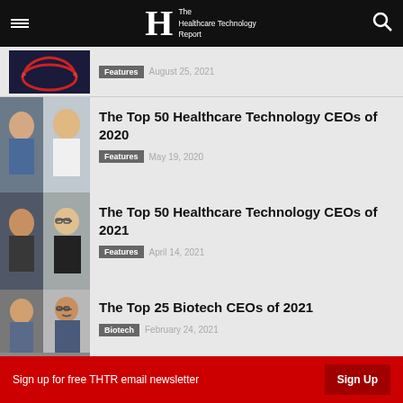The Healthcare Technology Report
[Figure (screenshot): Partially visible article card with red laurel decoration image]
Features   August 25, 2021
The Top 50 Healthcare Technology CEOs of 2020
Features   May 19, 2020
The Top 50 Healthcare Technology CEOs of 2021
Features   April 14, 2021
The Top 25 Biotech CEOs of 2021
Biotech   February 24, 2021
Sign up for free THTR email newsletter   Sign Up